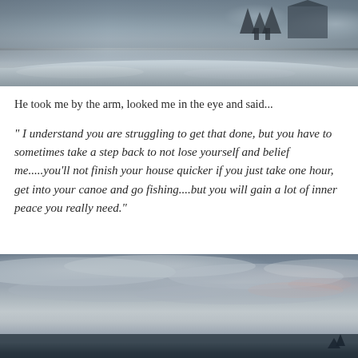[Figure (photo): Winter landscape photograph showing a frozen or snow-covered scene with trees and a building silhouette in the background, heavy snow on the ground]
He took me by the arm, looked me in the eye and said...
" I understand you are struggling to get that done, but you have to sometimes take a step back to not lose yourself and belief me.....you'll not finish your house quicker if you just take one hour, get into your canoe and go fishing....but you will gain a lot of inner peace you really need."
[Figure (photo): Outdoor landscape photograph showing a dramatic cloudy sky at dusk or dawn with silhouetted treeline at the bottom]